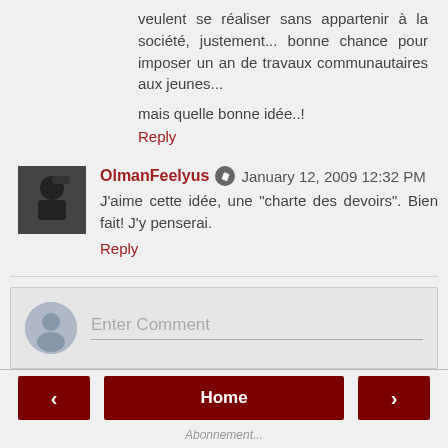veulent se réaliser sans appartenir à la société, justement... bonne chance pour imposer un an de travaux communautaires aux jeunes...
mais quelle bonne idée..!
Reply
OlmanFeelyus  January 12, 2009 12:32 PM
J'aime cette idée, une "charte des devoirs". Bien fait! J'y penserai.
Reply
Enter Comment
Home